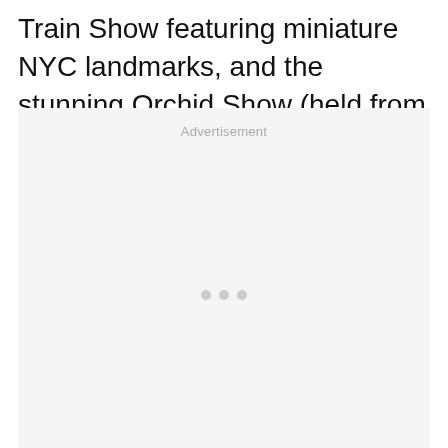Train Show featuring miniature NYC landmarks, and the stunning Orchid Show (held from February to April).
[Figure (other): Advertisement placeholder box with light gray background, the word 'Advertisement' centered at the top, and three small dots near the bottom center.]